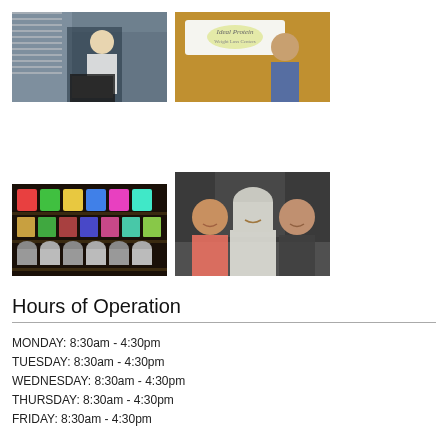[Figure (photo): Person in white coat standing at a desk with a laptop in an office setting]
[Figure (photo): Person in blue top standing in front of an 'Ideal Protein' clinic sign]
[Figure (photo): Display shelf with colorful food products and cans]
[Figure (photo): Three women smiling together, one wearing a hijab in the center]
Hours of Operation
MONDAY: 8:30am - 4:30pm
TUESDAY: 8:30am - 4:30pm
WEDNESDAY: 8:30am - 4:30pm
THURSDAY: 8:30am - 4:30pm
FRIDAY: 8:30am - 4:30pm